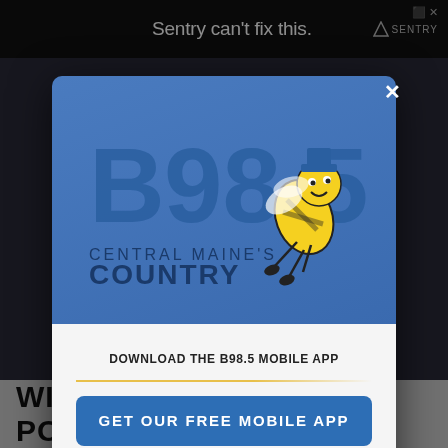[Figure (screenshot): Website page background showing dark overlay with a navigation bar, and bottom headline text 'WICKED COOL A MAINE POLICE']
[Figure (screenshot): Modal popup dialog for B98.5 Central Maine's Country radio station app download. Contains the station logo on a blue background, a 'DOWNLOAD THE B98.5 MOBILE APP' text, a blue 'GET OUR FREE MOBILE APP' button, and 'Also listen on: amazon alexa' text. An X close button is in the top right corner.]
Sentry can't fix this.
DOWNLOAD THE B98.5 MOBILE APP
GET OUR FREE MOBILE APP
Also listen on:  amazon alexa
WICKED COOL A MAINE POLICE